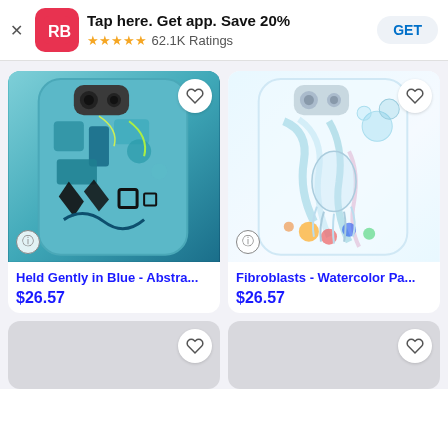Tap here. Get app. Save 20% ★★★★★ 62.1K Ratings GET
[Figure (photo): Phone case product: Held Gently in Blue - Abstra... blue abstract art phone case]
[Figure (photo): Phone case product: Fibroblasts - Watercolor Pa... colorful watercolor art phone case]
Held Gently in Blue - Abstra...
$26.57
Fibroblasts - Watercolor Pa...
$26.57
[Figure (photo): Partially visible product card (bottom left), loading]
[Figure (photo): Partially visible product card (bottom right), loading]